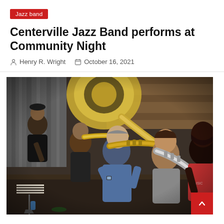Jazz band
Centerville Jazz Band performs at Community Night
Henry R. Wright   October 16, 2021
[Figure (photo): Several jazz musicians sitting indoors playing brass instruments (trumpets and trombone). The musicians are in a rehearsal or performance setting with sheet music stands, wooden wall paneling in background. Multiple people of different ethnicities playing together.]